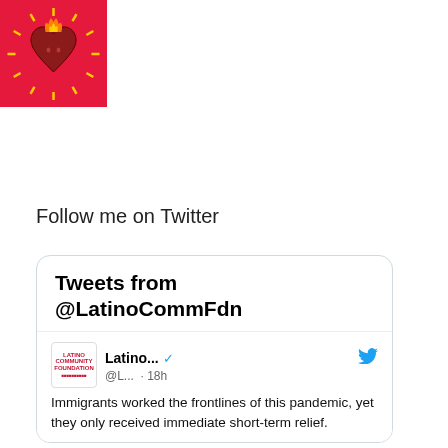[Figure (logo): Profile image: pink/red square with an ornate flaming sacred heart illustration in red, orange and yellow tones]
Follow me on Twitter
[Figure (screenshot): Twitter widget showing tweets from @LatinoCommFdn. Header reads 'Tweets from @LatinoCommFdn'. Tweet from Latino... @L... · 18h: Immigrants worked the frontlines of this pandemic, yet they only received immediate short-term relief. Proud of our #LatinoPowerFund ARP grantees @LaImmigrants]